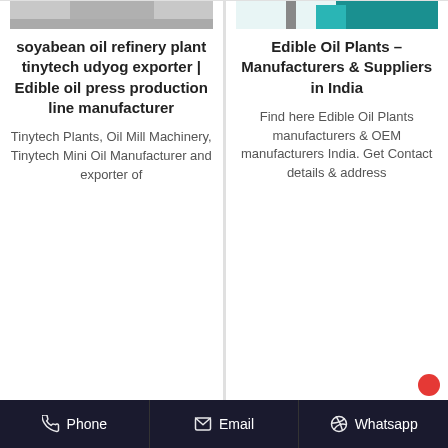[Figure (photo): Partial image of soyabean oil refinery plant machinery at top of left column]
[Figure (photo): Partial image of edible oil plant equipment (teal/green machinery) at top of right column]
soyabean oil refinery plant tinytech udyog exporter | Edible oil press production line manufacturer
Tinytech Plants, Oil Mill Machinery, Tinytech Mini Oil Manufacturer and exporter of
Edible Oil Plants – Manufacturers & Suppliers in India
Find here Edible Oil Plants manufacturers & OEM manufacturers India. Get Contact details & address
Phone   Email   Whatsapp